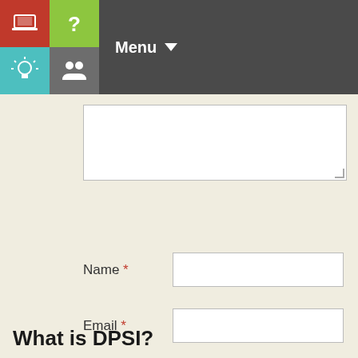Menu
[Figure (screenshot): Web form with textarea, Name, Email, Website fields, and Post Comment button, with navigation bar containing icon grid and Menu dropdown]
What is DPSI?